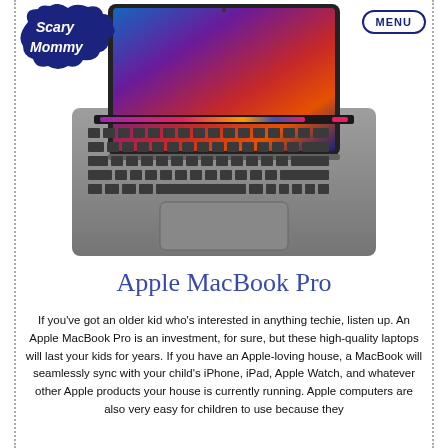Scary Mommy | MENU
[Figure (photo): Apple MacBook Pro laptop shown from above/front, open with keyboard visible, colorful wallpaper on screen, Touch Bar visible, space gray color]
Apple MacBook Pro
If you've got an older kid who's interested in anything techie, listen up. An Apple MacBook Pro is an investment, for sure, but these high-quality laptops will last your kids for years. If you have an Apple-loving house, a MacBook will seamlessly sync with your child's iPhone, iPad, Apple Watch, and whatever other Apple products your house is currently running. Apple computers are also very easy for children to use because they